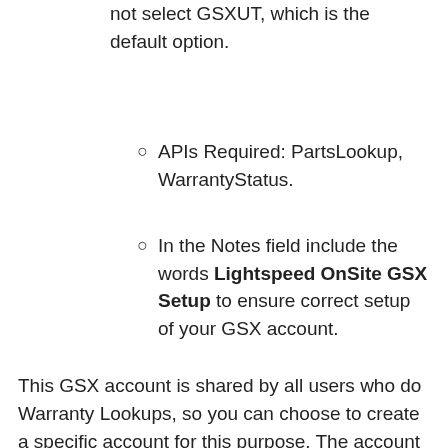not select GSXUT, which is the default option.
APIs Required: PartsLookup, WarrantyStatus.
In the Notes field include the words Lightspeed OnSite GSX Setup to ensure correct setup of your GSX account.
This GSX account is shared by all users who do Warranty Lookups, so you can choose to create a specific account for this purpose. The account must have the Can Access Web Services privilege enabled by Apple Service